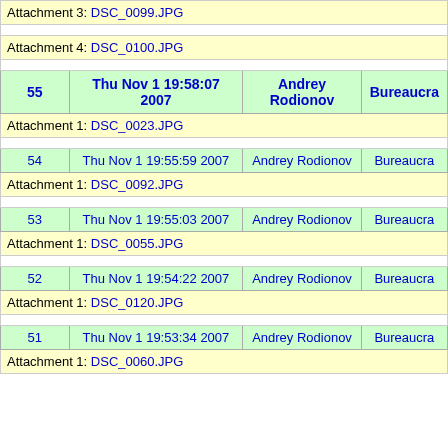| Attachment 3: DSC_0099.JPG |
|  |
| Attachment 4: DSC_0100.JPG |
|  |
| 55 | Thu Nov 1 19:58:07 2007 | Andrey Rodionov | Bureaucra |
| Attachment 1: DSC_0023.JPG |
|  |
| 54 | Thu Nov 1 19:55:59 2007 | Andrey Rodionov | Bureaucra |
| Attachment 1: DSC_0092.JPG |
|  |
| 53 | Thu Nov 1 19:55:03 2007 | Andrey Rodionov | Bureaucra |
| Attachment 1: DSC_0055.JPG |
|  |
| 52 | Thu Nov 1 19:54:22 2007 | Andrey Rodionov | Bureaucra |
| Attachment 1: DSC_0120.JPG |
|  |
| 51 | Thu Nov 1 19:53:34 2007 | Andrey Rodionov | Bureaucra |
| Attachment 1: DSC_0060.JPG |